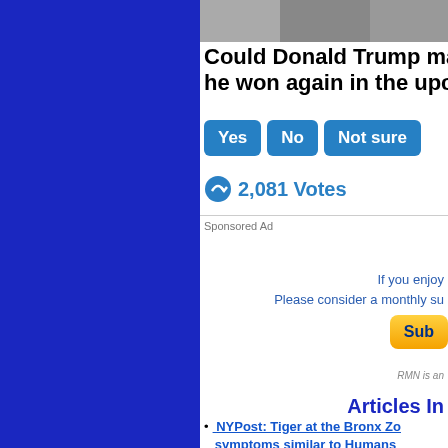[Figure (photo): Photo strip of people at the top of the content area]
Could Donald Trump ma... he won again in the upco...
Yes  No  Not sure
2,081 Votes
Sponsored Ad
If you enjoy... Please consider a monthly su...
Sub...
RMN is an...
Articles In...
NYPost: Tiger at the Bronx Zo... symptoms similar to Humans...